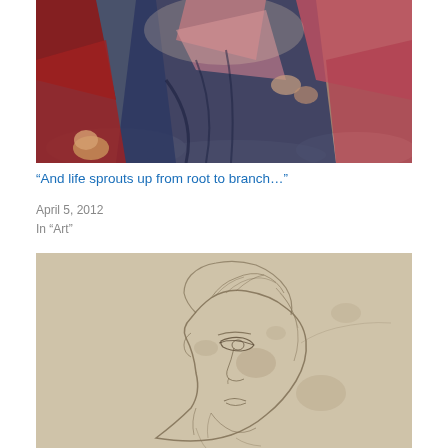[Figure (photo): Detail of a Renaissance painting showing figures in red and blue robes, seated on clouds, with rich drapery and warm, dramatic coloring.]
“And life sprouts up from root to branch…”
April 5, 2012
In “Art”
[Figure (photo): A detailed pencil or charcoal sketch of a woman’s head tilted downward, with fine lines depicting hair and facial features in Renaissance drawing style, on aged paper.]